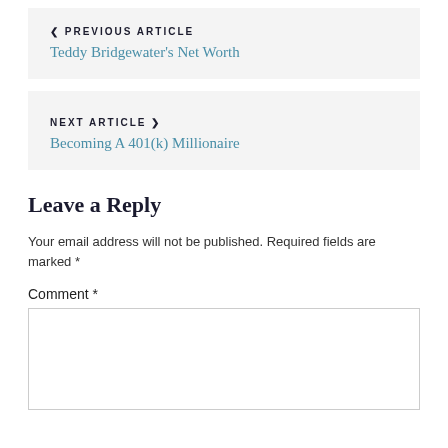❮ PREVIOUS ARTICLE
Teddy Bridgewater's Net Worth
NEXT ARTICLE ❯
Becoming A 401(k) Millionaire
Leave a Reply
Your email address will not be published. Required fields are marked *
Comment *